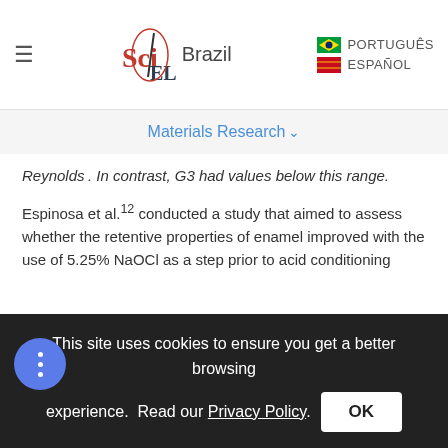SciELO Brazil | Materials Research
Reynolds . In contrast, G3 had values below this range.
Espinosa et al.12 conducted a study that aimed to assess whether the retentive properties of enamel improved with the use of 5.25% NaOCl as a step prior to acid conditioning (37% PA). A larger number of type 1 and 2 decalcification patterns were observed, whereas a predominance of type 3 patterns was noted in the absence of NaOCl. When assessing enamel micromorphology, Silverstone16 noted a higher degree of retention for type 1 and 2 decalcification patterns than for type...
This site uses cookies to ensure you get a better browsing experience. Read our Privacy Policy. OK